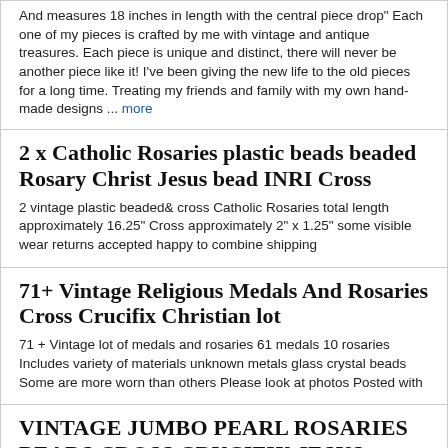And measures 18 inches in length with the central piece drop" Each one of my pieces is crafted by me with vintage and antique treasures. Each piece is unique and distinct, there will never be another piece like it! I've been giving the new life to the old pieces for a long time. Treating my friends and family with my own hand-made designs ... more
2 x Catholic Rosaries plastic beads beaded Rosary Christ Jesus bead INRI Cross
2 vintage plastic beaded& cross Catholic Rosaries total length approximately 16.25" Cross approximately 2" x 1.25" some visible wear returns accepted happy to combine shipping
71+ Vintage Religious Medals And Rosaries Cross Crucifix Christian lot
71 + Vintage lot of medals and rosaries 61 medals 10 rosaries Includes variety of materials unknown metals glass crystal beads Some are more worn than others Please look at photos Posted with
VINTAGE JUMBO PEARL ROSARIES BEADS CROSS CRUCIFIX JESUS SACRED HEART LAST ROSARY
VINTAGE JUMBO ROSARY ROSARIES CROSS CRUCIFIX 3-D JESUS WITH SACRED HEART MEDAL AND PEARLIZED TEAR-SHAPED BEADS. THE LAST ROSARY STAMPED BEHIND SACRED HEART MEDAL THIS BEAUTIFUL ROSARY MEASURES ABOUT 47"